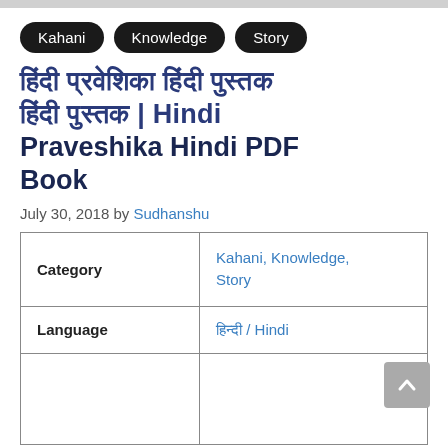Kahani
Knowledge
Story
हिंदी प्रवेशिका हिंदी पुस्तक हिंदी | Hindi Praveshika Hindi PDF Book
July 30, 2018 by Sudhanshu
| Category |  |
| --- | --- |
| Category | Kahani, Knowledge, Story |
| Language | हिन्दी / Hindi |
|  |  |